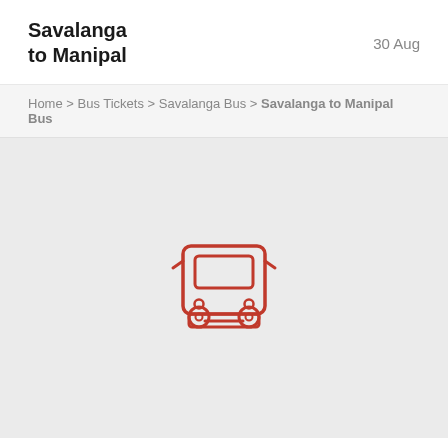Savalanga to Manipal
30 Aug
Home > Bus Tickets > Savalanga Bus > Savalanga to Manipal Bus
[Figure (illustration): Front-view red outline bus icon on light grey background]